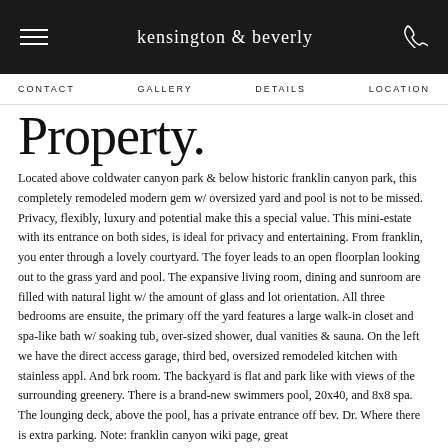kensington & beverly
CONTACT   GALLERY   DETAILS   LOCATION
Property.
Located above coldwater canyon park & below historic franklin canyon park, this completely remodeled modern gem w/ oversized yard and pool is not to be missed. Privacy, flexibly, luxury and potential make this a special value. This mini-estate with its entrance on both sides, is ideal for privacy and entertaining. From franklin, you enter through a lovely courtyard. The foyer leads to an open floorplan looking out to the grass yard and pool. The expansive living room, dining and sunroom are filled with natural light w/ the amount of glass and lot orientation. All three bedrooms are ensuite, the primary off the yard features a large walk-in closet and spa-like bath w/ soaking tub, over-sized shower, dual vanities & sauna. On the left we have the direct access garage, third bed, oversized remodeled kitchen with stainless appl. And brk room. The backyard is flat and park like with views of the surrounding greenery. There is a brand-new swimmers pool, 20x40, and 8x8 spa. The lounging deck, above the pool, has a private entrance off bev. Dr. Where there is extra parking. Note: franklin canyon wiki page, great